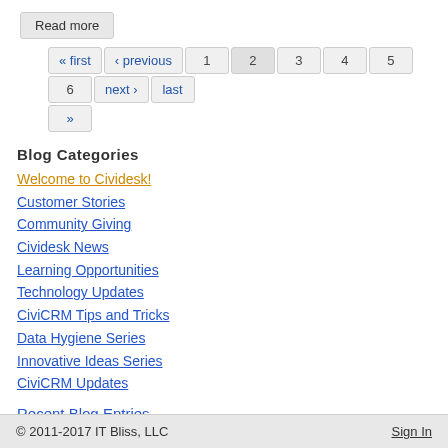Read more
« first ‹ previous 1 2 3 4 5 6 next › last »
Blog Categories
Welcome to Cividesk!
Customer Stories
Community Giving
Cividesk News
Learning Opportunities
Technology Updates
CiviCRM Tips and Tricks
Data Hygiene Series
Innovative Ideas Series
CiviCRM Updates
Recent Blog Entries
© 2011-2017 IT Bliss, LLC    Sign In